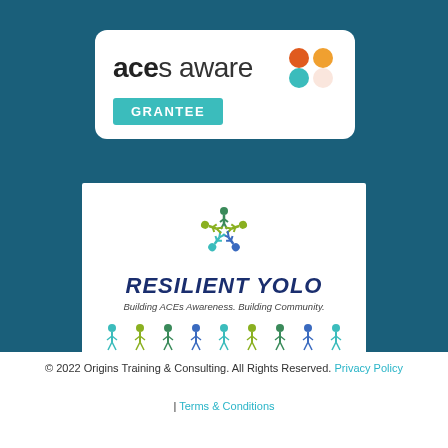[Figure (logo): ACEs Aware Grantee logo badge — white rounded rectangle with 'aces aware' text and colorful dots, plus teal 'GRANTEE' badge]
[Figure (logo): Resilient Yolo logo — white rectangle with circular people icon, bold navy italic 'RESILIENT YOLO' text, subtitle 'Building ACEs Awareness. Building Community.' and row of colorful people figures]
© 2022 Origins Training & Consulting. All Rights Reserved. Privacy Policy | Terms & Conditions